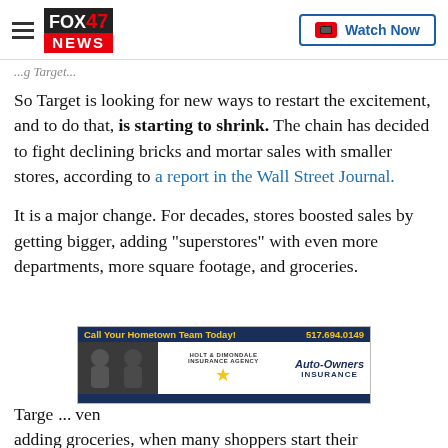FOX 47 NEWS — Watch Now
So Target is looking for new ways to restart the excitement, and to do that, is starting to shrink. The chain has decided to fight declining bricks and mortar sales with smaller stores, according to a report in the Wall Street Journal.
It is a major change. For decades, stores boosted sales by getting bigger, adding "superstores" with even more departments, more square footage, and groceries.
[Figure (photo): Advertisement banner for Holt & Dimondale Insurance Agency and Auto-Owners Insurance. Yellow text on dark blue background reads 'Call Your Hometown Team Today! 517.694.0149'. Two people in casual clothing are shown on the left, with the Holt & Dimondale Insurance Agency logo with a star in the center, and Auto-Owners Insurance branding on the right.]
Target... even adding groceries, when many shoppers start their...